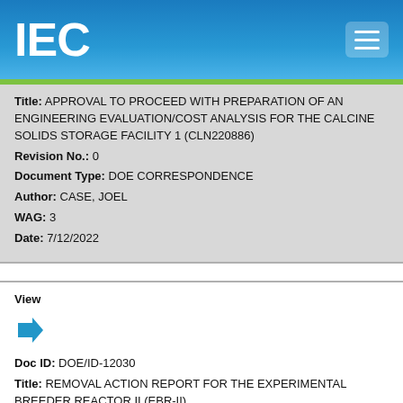IEC
Title: APPROVAL TO PROCEED WITH PREPARATION OF AN ENGINEERING EVALUATION/COST ANALYSIS FOR THE CALCINE SOLIDS STORAGE FACILITY 1 (CLN220886)
Revision No.: 0
Document Type: DOE CORRESPONDENCE
Author: CASE, JOEL
WAG: 3
Date: 7/12/2022
View
Doc ID: DOE/ID-12030
Title: REMOVAL ACTION REPORT FOR THE EXPERIMENTAL BREEDER REACTOR II (EBR-II)
Revision No.: 1
Document Type: NOT SPECIFIED
Author: NOT SPECIFIED
WAG: 9, 102
Date: 7/1/2022